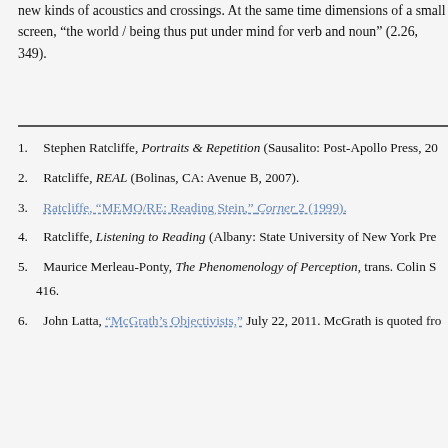new kinds of acoustics and crossings. At the same time dimensions of a small screen, “the world / being thus put under mind for verb and noun” (2.26, 349).
1.  Stephen Ratcliffe, Portraits & Repetition (Sausalito: Post-Apollo Press, 20...
2.  Ratcliffe, REAL (Bolinas, CA: Avenue B, 2007).
3.  Ratcliffe, “MEMO/RE: Reading Stein,” Corner 2 (1999).
4.  Ratcliffe, Listening to Reading (Albany: State University of New York Pre...
5.  Maurice Merleau-Ponty, The Phenomenology of Perception, trans. Colin S... 416.
6.  John Latta, “McGrath’s Objectivists,” July 22, 2011. McGrath is quoted fro...